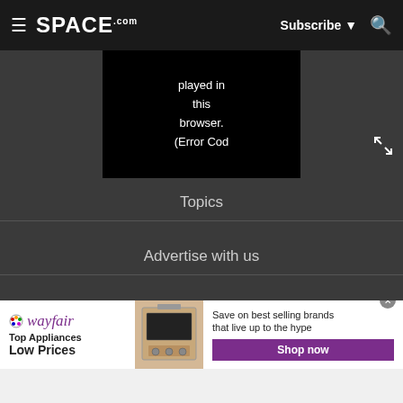SPACE.com | Subscribe | Search
[Figure (screenshot): Video player error message showing: played in this browser. (Error Cod]
Topics
Advertise with us
Web notifications
Careers
Do not sell my info
[Figure (infographic): Wayfair advertisement: Top Appliances Low Prices. Save on best selling brands that live up to the hype. Shop now button. Image of a stove/range appliance.]